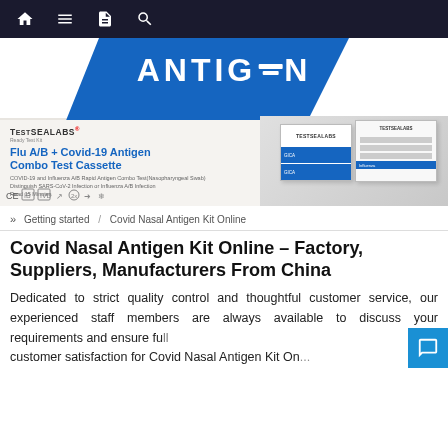Navigation bar with home, menu, document, and search icons
[Figure (photo): Testsealabs Flu A/B + Covid-19 Antigen Combo Test Cassette product banner with blue diagonal shape and product packaging images on right side. Text includes: TESTSEALABS, Flu A/B + Covid-19 Antigen Combo Test Cassette, COVID-19 and Influenza A/B Rapid Antigen Combo Test (Nasopharyngeal Swab), Distinguish SARS-CoV-2 Infection or Influenza A/B Infection, Read 15 Minutes. CE and regulatory marks at bottom.]
» Getting started / Covid Nasal Antigen Kit Online
Covid Nasal Antigen Kit Online – Factory, Suppliers, Manufacturers From China
Dedicated to strict quality control and thoughtful customer service, our experienced staff members are always available to discuss your requirements and ensure full customer satisfaction for Covid Nasal Antigen Kit On...